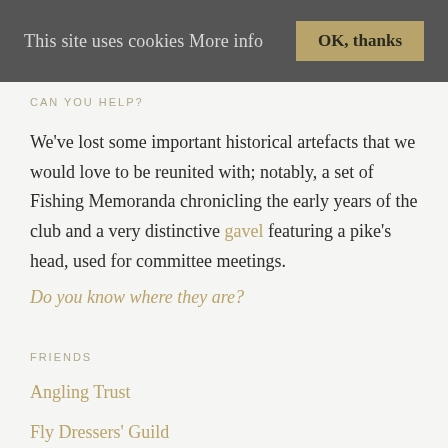This site uses cookies More info   OK, thanks
CAN YOU HELP?
We've lost some important historical artefacts that we would love to be reunited with; notably, a set of Fishing Memoranda chronicling the early years of the club and a very distinctive gavel featuring a pike's head, used for committee meetings.
Do you know where they are?
FRIENDS
Angling Trust
Fly Dressers' Guild
Flyfishers' Club
Herts & Middlesex Wildlife Trust